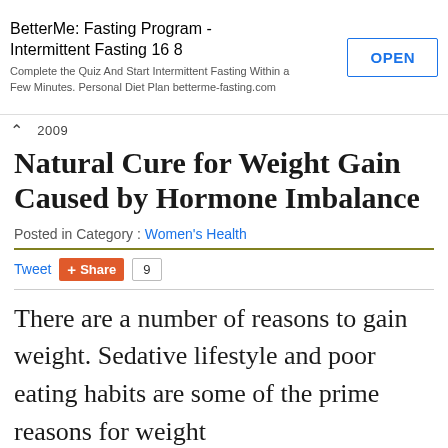[Figure (screenshot): Advertisement banner for BetterMe: Fasting Program - Intermittent Fasting 16 8 with OPEN button]
BetterMe: Fasting Program - Intermittent Fasting 16 8
Complete the Quiz And Start Intermittent Fasting Within a Few Minutes. Personal Diet Plan betterme-fasting.com
OPEN
Natural Cure for Weight Gain Caused by Hormone Imbalance
Posted in Category : Women's Health
Tweet  Share  9
There are a number of reasons to gain weight. Sedative lifestyle and poor eating habits are some of the prime reasons for weight